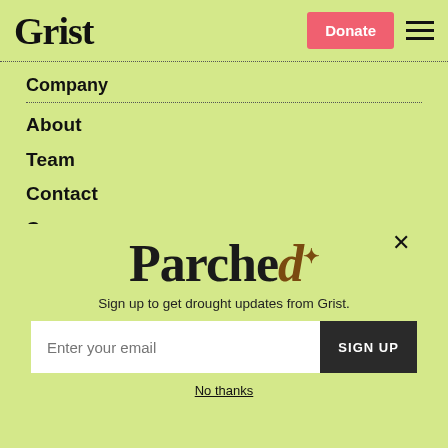Grist — Donate (navigation bar)
Company
About
Team
Contact
Careers
Edit... (partially visible)
[Figure (screenshot): Parched newsletter signup modal with email input and 'SIGN UP' button. Text reads: 'Sign up to get drought updates from Grist.' with a 'No thanks' link below.]